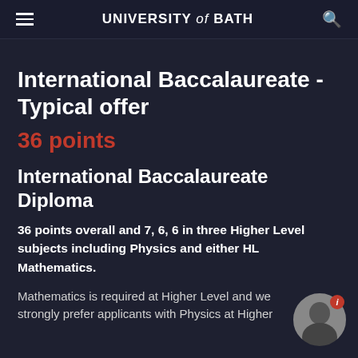UNIVERSITY of BATH
International Baccalaureate - Typical offer
36 points
International Baccalaureate Diploma
36 points overall and 7, 6, 6 in three Higher Level subjects including Physics and either HL Mathematics.
Mathematics is required at Higher Level and we strongly prefer applicants with Physics at Higher